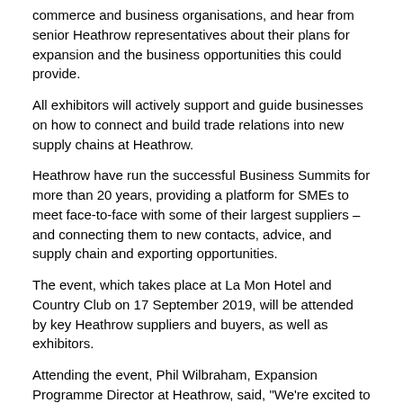commerce and business organisations, and hear from senior Heathrow representatives about their plans for expansion and the business opportunities this could provide.
All exhibitors will actively support and guide businesses on how to connect and build trade relations into new supply chains at Heathrow.
Heathrow have run the successful Business Summits for more than 20 years, providing a platform for SMEs to meet face-to-face with some of their largest suppliers – and connecting them to new contacts, advice, and supply chain and exporting opportunities.
The event, which takes place at La Mon Hotel and Country Club on 17 September 2019, will be attended by key Heathrow suppliers and buyers, as well as exhibitors.
Attending the event, Phil Wilbraham, Expansion Programme Director at Heathrow, said, "We're excited to be in Northern Ireland, a nation with a thriving construction sector.
"Northern Irish businesses helped to build some of the most critical parts of Terminals 2 and 5 and we look forward to working with these contacts and establishing new ones to help deliver our expanded airport.
"These business summits are our way to grow and diversify the airport's supply chain – getting more Northern Irish firms involved to deliver the third runway on time and on budget and kickstart the economic growth